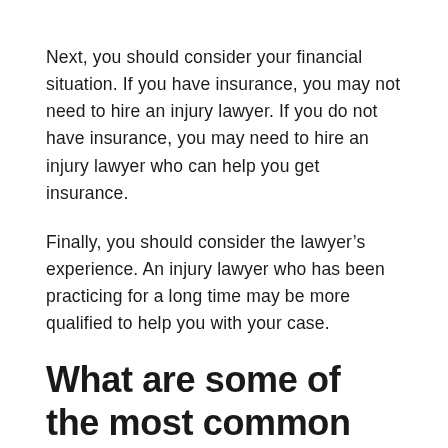Next, you should consider your financial situation. If you have insurance, you may not need to hire an injury lawyer. If you do not have insurance, you may need to hire an injury lawyer who can help you get insurance.
Finally, you should consider the lawyer’s experience. An injury lawyer who has been practicing for a long time may be more qualified to help you with your case.
What are some of the most common types of injuries that victims in Maryland may suffer?